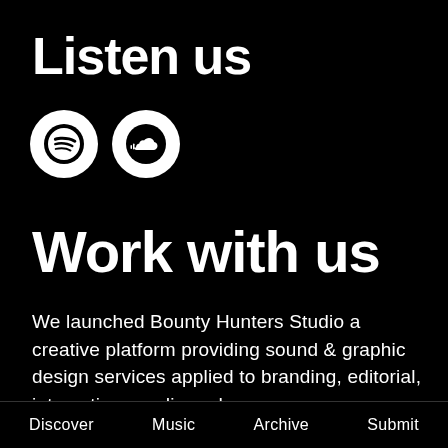Listen us
[Figure (logo): Two circular icons side by side: Spotify logo (white circle with black Spotify symbol) and SoundCloud logo (white circle with black cloud/soundwave symbol)]
Work with us
We launched Bounty Hunters Studio a creative platform providing sound & graphic design services applied to branding, editorial, interaction, media and
Discover    Music    Archive    Submit